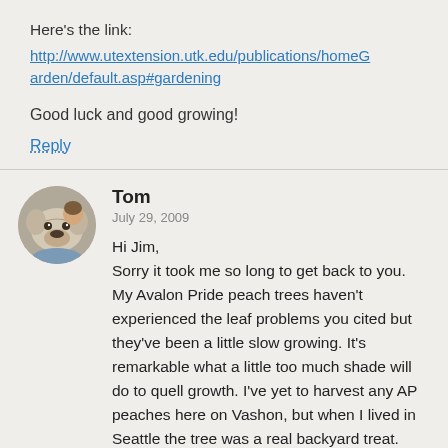Here's the link:
http://www.utextension.utk.edu/publications/homeGarden/default.asp#gardening
Good luck and good growing!
Reply
[Figure (photo): Circular avatar photo of Tom, showing a bulldog and a person]
Tom
July 29, 2009
Hi Jim,
Sorry it took me so long to get back to you. My Avalon Pride peach trees haven't experienced the leaf problems you cited but they've been a little slow growing. It's remarkable what a little too much shade will do to quell growth. I've yet to harvest any AP peaches here on Vashon, but when I lived in Seattle the tree was a real backyard treat. The fruit split a bit on the stem end and would be a beacon for earwigs, so I applied tanglefoot to paper wrapped around the trunk to keep them off. It really was a delicious peach, better flavor and juice than the Frost though not as prolific as the Frost.